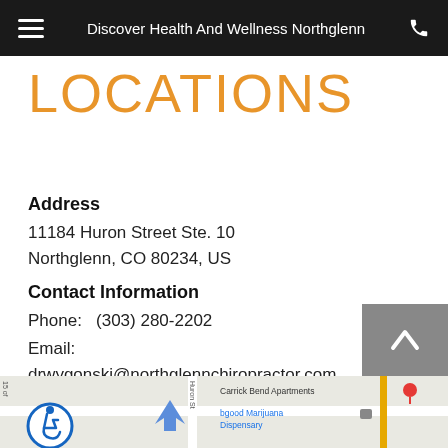Discover Health And Wellness Northglenn
LOCATIONS
Address
11184 Huron Street Ste. 10
Northglenn, CO 80234, US
Contact Information
Phone:   (303) 280-2202
Email:   drwygonski@northglennchiropractor.com
[Figure (map): Google Maps view showing the area around 11184 Huron Street, Northglenn CO, with Carrick Bend Apartments and bgood Marijuana Dispensary visible as nearby landmarks.]